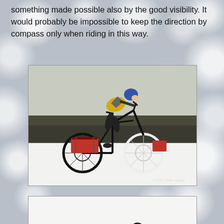something made possible also by the good visibility. It would probably be impossible to keep the direction by compass only when riding in this way.
[Figure (photo): A cyclist wearing a yellow and grey jacket and blue helmet riding a loaded bicycle across a snowy flat landscape. The bike has red luggage strapped to the rear rack. Copyright 2011 Peter Inguna watermark visible in bottom right.]
[Figure (photo): A cyclist wearing a yellow-green jacket riding a fat-tire bicycle in a snowy white landscape. The bike has fat black tires and a yellow bag on the rear. The background is plain white snow.]